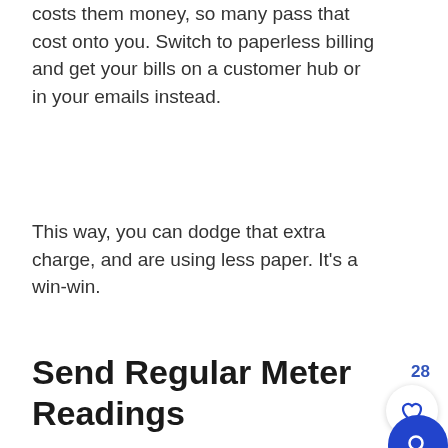costs them money, so many pass that cost onto you. Switch to paperless billing and get your bills on a customer hub or in your emails instead.
This way, you can dodge that extra charge, and are using less paper. It's a win-win.
Send Regular Meter Readings
Many water and electric bills are based on estimates, which can end up costing you more if you're making a lot of effort to cut back on what you use, and...